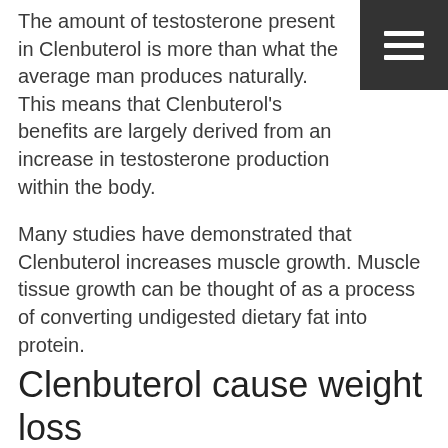The amount of testosterone present in Clenbuterol is more than what the average man produces naturally. This means that Clenbuterol's benefits are largely derived from an increase in testosterone production within the body.
Many studies have demonstrated that Clenbuterol increases muscle growth. Muscle tissue growth can be thought of as a process of converting undigested dietary fat into protein.
Clenbuterol cause weight loss
Fitness enthusiasts and bodybuilders alike cannot stop phantom the potential of Clenbuterol as a weight loss steroid. Clenbuterol is an effective weight loss substance, even if it is not always seen as one. One reason it is not seen as such is